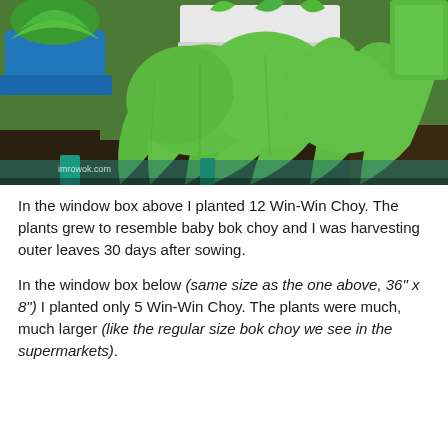[Figure (photo): Close-up photo of lush green Win-Win Choy plants growing in a window box, with large rounded leaves. Other potted plants visible in background. Watermark text 'imrowok.com' visible at bottom left.]
In the window box above I planted 12 Win-Win Choy. The plants grew to resemble baby bok choy and I was harvesting outer leaves 30 days after sowing.
In the window box below (same size as the one above, 36" x 8") I planted only 5 Win-Win Choy. The plants were much, much larger (like the regular size bok choy we see in the supermarkets).